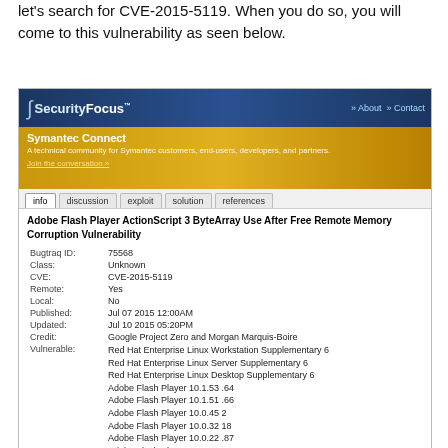let's search for CVE-2015-5119. When you do so, you will come to this vulnerability as seen below.
[Figure (screenshot): Screenshot of SecurityFocus website showing CVE-2015-5119 vulnerability details. The page shows the SecurityFocus header with Symantec Connect banner, navigation tabs (info, discussion, exploit, solution, references), and vulnerability details including: Adobe Flash Player ActionScript 3 ByteArray Use After Free Remote Memory Corruption Vulnerability. Bugtraq ID: 75568, Class: Unknown, CVE: CVE-2015-5119, Remote: Yes, Local: No, Published: Jul 07 2015 12:00AM, Updated: Jul 10 2015 05:20PM, Credit: Google Project Zero and Morgan Marquis-Boire. Vulnerable products listed including various Red Hat Enterprise Linux versions and Adobe Flash Player versions.]